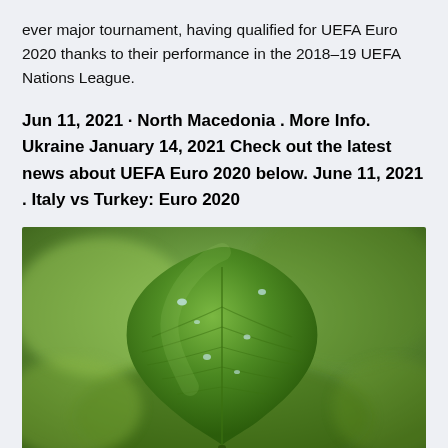ever major tournament, having qualified for UEFA Euro 2020 thanks to their performance in the 2018–19 UEFA Nations League.
Jun 11, 2021 · North Macedonia . More Info. Ukraine January 14, 2021 Check out the latest news about UEFA Euro 2020 below. June 11, 2021 . Italy vs Turkey: Euro 2020
[Figure (photo): Close-up photograph of a green leaf with visible veins, water droplets on its surface, against a blurred green background. The leaf appears heart-shaped and is photographed from above.]